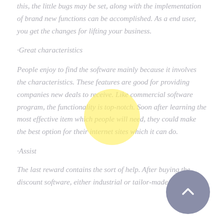this, the little bugs may be set, along with the implementation of brand new functions can be accomplished. As a end user, you get the changes for lifting your business.
·Great characteristics
People enjoy to find the software mainly because it involves the characteristics. These features are good for providing companies new deals to receive. Like commercial software program, the functionality is top-notch. Soon after learning the most effective item which people will need, they could make the best option for their internet sites which it can do.
·Assist
The last reward contains the sort of help. After buying the discount software, either industrial or tailor-made